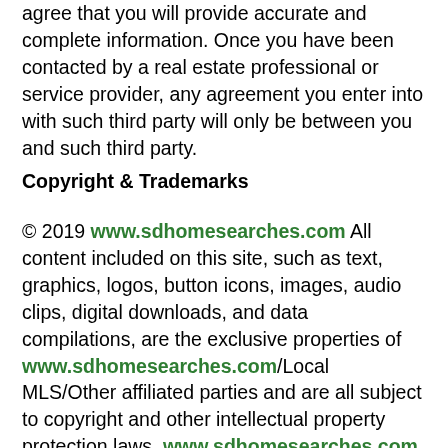agree that you will provide accurate and complete information. Once you have been contacted by a real estate professional or service provider, any agreement you enter into with such third party will only be between you and such third party.
Copyright & Trademarks
© 2019 www.sdhomesearches.com All content included on this site, such as text, graphics, logos, button icons, images, audio clips, digital downloads, and data compilations, are the exclusive properties of www.sdhomesearches.com/Local MLS/Other affiliated parties and are all subject to copyright and other intellectual property protection laws. www.sdhomesearches.com and all other